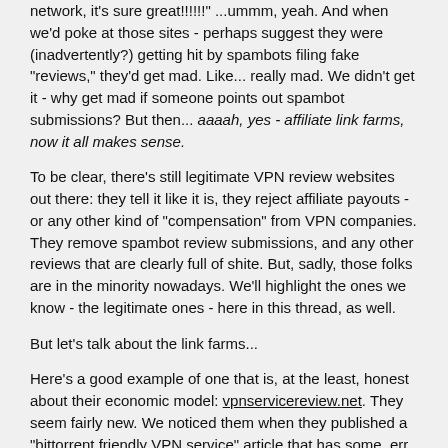network, it's sure great!!!!!!" ...ummm, yeah. And when we'd poke at those sites - perhaps suggest they were (inadvertently?) getting hit by spambots filing fake "reviews," they'd get mad. Like... really mad. We didn't get it - why get mad if someone points out spambot submissions? But then... aaaah, yes - affiliate link farms, now it all makes sense.
To be clear, there's still legitimate VPN review websites out there: they tell it like it is, they reject affiliate payouts - or any other kind of "compensation" from VPN companies. They remove spambot review submissions, and any other reviews that are clearly full of shite. But, sadly, those folks are in the minority nowadays. We'll highlight the ones we know - the legitimate ones - here in this thread, as well.
But let's talk about the link farms...
Here's a good example of one that is, at the least, honest about their economic model: vpnservicereview.net. They seem fairly new. We noticed them when they published a "bittorrent friendly VPN service" article that has some, err, really inexplicable inclusions in the list. One of our folks submitted a comment, and then he pointed me at something interesting in the site.
That'd be the "Compensation Disclosure page. Fascinating! Once again, props to the vpnservicereview.net for being honest and upfront about